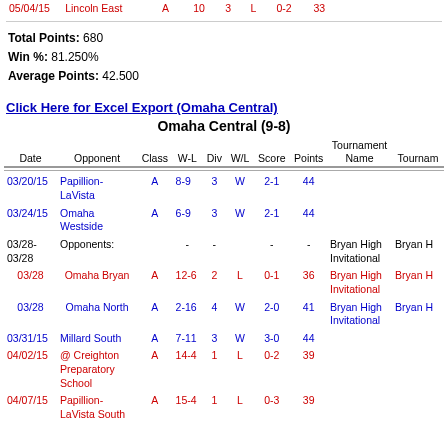| Date | Opponent | Class | W-L | Div | W/L | Score | Points | Tournament Name | Tournam |
| --- | --- | --- | --- | --- | --- | --- | --- | --- | --- |
| 05/04/15 | Lincoln East | A | 10 | 3 | L | 0-2 | 33 |  |  |
| 03/20/15 | Papillion-LaVista | A | 8-9 | 3 | W | 2-1 | 44 |  |  |
| 03/24/15 | Omaha Westside | A | 6-9 | 3 | W | 2-1 | 44 |  |  |
| 03/28-03/28 | Opponents: |  |  |  | - |  | - | Bryan High Invitational | Bryan H |
| 03/28 | Omaha Bryan | A | 12-6 | 2 | L | 0-1 | 36 | Bryan High Invitational | Bryan H |
| 03/28 | Omaha North | A | 2-16 | 4 | W | 2-0 | 41 | Bryan High Invitational | Bryan H |
| 03/31/15 | Millard South | A | 7-11 | 3 | W | 3-0 | 44 |  |  |
| 04/02/15 | @ Creighton Preparatory School | A | 14-4 | 1 | L | 0-2 | 39 |  |  |
| 04/07/15 | Papillion-LaVista South | A | 15-4 | 1 | L | 0-3 | 39 |  |  |
Total Points: 680
Win %: 81.250%
Average Points: 42.500
Click Here for Excel Export (Omaha Central)
Omaha Central (9-8)